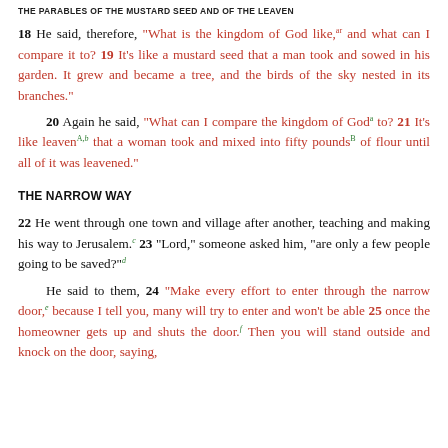THE PARABLES OF THE MUSTARD SEED AND OF THE LEAVEN
18 He said, therefore, “What is the kingdom of God like,ar and what can I compare it to? 19 It’s like a mustard seed that a man took and sowed in his garden. It grew and became a tree, and the birds of the sky nested in its branches.”
20 Again he said, “What can I compare the kingdom of Goda to? 21 It’s like leavenA,b that a woman took and mixed into fifty poundsB of flour until all of it was leavened.”
THE NARROW WAY
22 He went through one town and village after another, teaching and making his way to Jerusalem.c 23 “Lord,” someone asked him, “are only a few people going to be saved?”d
He said to them, 24 “Make every effort to enter through the narrow door,e because I tell you, many will try to enter and won’t be able 25 once the homeowner gets up and shuts the door.f Then you will stand outside and knock on the door, saying,